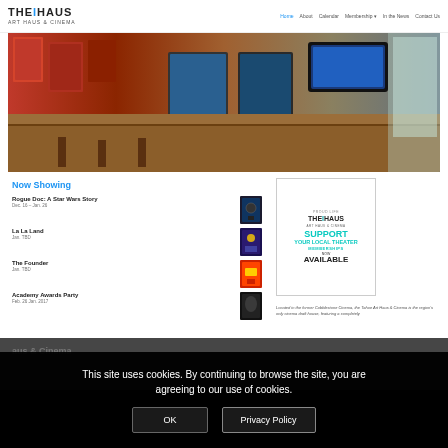THE HAUS ART HAUS & CINEMA | Home | About | Calendar | Membership | In the News | Contact Us
[Figure (photo): Interior photo of The Haus art cinema bar area with movie posters on red walls, a wooden bar counter, refrigerators, and a TV screen]
Now Showing
Rogue Doc: A Star Wars Story — Dec. 16 – Jan. 26
La La Land — Jan. TBD
The Founder — Jan. TBD
[Figure (infographic): Membership promotion box: PROUD LIFE THE HAUS ART HAUS & CINEMA — SUPPORT YOUR LOCAL THEATER MEMBERSHIPS NOW AVAILABLE]
Academy Awards Party — Feb. 26 Jan. 2017
Located in the former Cobblestone Cinema, the Tahoe Art Haus & Cinema is the region's only cinema draft house, featuring a completely
aus & Cinema
This site uses cookies. By continuing to browse the site, you are agreeing to our use of cookies.
OK
Privacy Policy